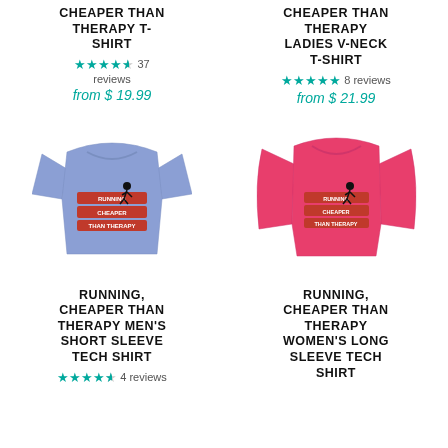CHEAPER THAN THERAPY T-SHIRT
★★★★½ 37 reviews from $ 19.99
CHEAPER THAN THERAPY LADIES V-NECK T-SHIRT
★★★★★ 8 reviews from $ 21.99
[Figure (photo): Blue t-shirt with Running Cheaper Than Therapy graphic]
[Figure (photo): Pink long sleeve women's tech shirt with Running Cheaper Than Therapy graphic]
RUNNING, CHEAPER THAN THERAPY MEN'S SHORT SLEEVE TECH SHIRT
★★★★½ 4 reviews
RUNNING, CHEAPER THAN THERAPY WOMEN'S LONG SLEEVE TECH SHIRT